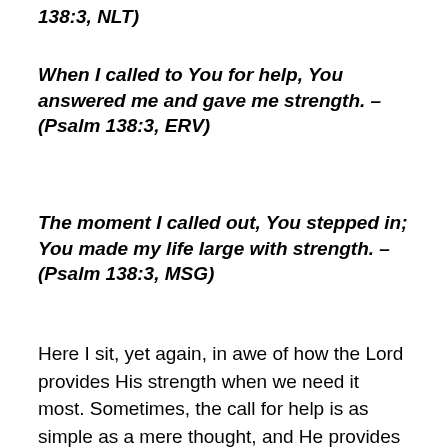138:3, NLT)
When I called to You for help, You answered me and gave me strength. – (Psalm 138:3, ERV)
The moment I called out, You stepped in; You made my life large with strength. – (Psalm 138:3, MSG)
Here I sit, yet again, in awe of how the Lord provides His strength when we need it most. Sometimes, the call for help is as simple as a mere thought, and He provides people to rally around us, encourage us, and point us back to